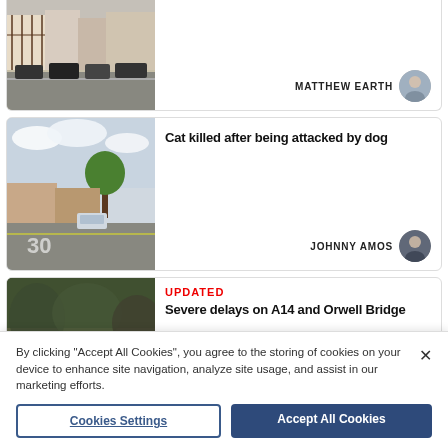[Figure (photo): Partial top news card showing a street with Tudor-style buildings and parked cars, author MATTHEW EARTH]
MATTHEW EARTH
[Figure (photo): News card with street view photo showing residential road with a car, article headline: Cat killed after being attacked by dog, author JOHNNY AMOS]
Cat killed after being attacked by dog
JOHNNY AMOS
[Figure (photo): Partial news card with image of flooded or green area, tagged UPDATED, headline: Severe delays on A14 and Orwell Bridge]
UPDATED
Severe delays on A14 and Orwell Bridge
By clicking "Accept All Cookies", you agree to the storing of cookies on your device to enhance site navigation, analyze site usage, and assist in our marketing efforts.
Cookies Settings
Accept All Cookies